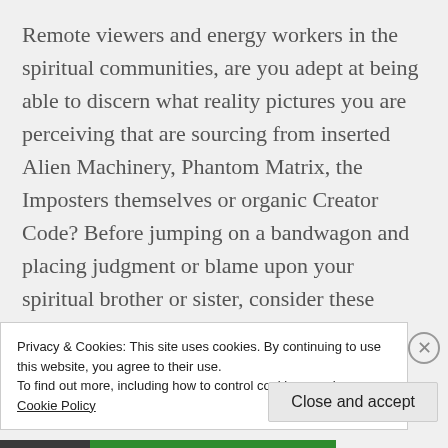Remote viewers and energy workers in the spiritual communities, are you adept at being able to discern what reality pictures you are perceiving that are sourcing from inserted Alien Machinery, Phantom Matrix, the Imposters themselves or organic Creator Code? Before jumping on a bandwagon and placing judgment or blame upon your spiritual brother or sister, consider these complex Psychological Warfare tactics carefully and request
Privacy & Cookies: This site uses cookies. By continuing to use this website, you agree to their use.
To find out more, including how to control cookies, see here: Cookie Policy